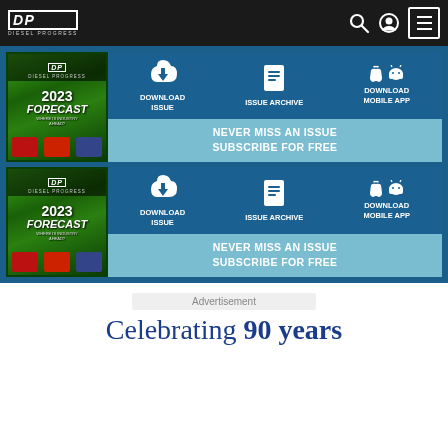DP DIESEL PROGRESS
[Figure (screenshot): Diesel Progress magazine issue card 1 with download, archive, mobile app icons and subscribe bar. Includes magazine cover showing '2023 FORECAST'.]
[Figure (screenshot): Diesel Progress magazine issue card 2 with download, archive, mobile app icons and subscribe bar. Includes magazine cover showing '2023 FORECAST'.]
Advertisement
Celebrating 90 years